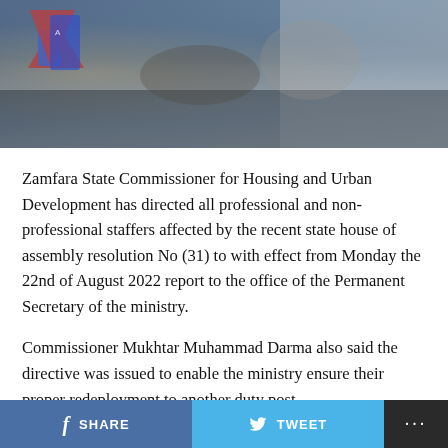[Figure (photo): News article header photo showing people at what appears to be an outdoor event or gathering, with a flag or banner visible on the left side. Image is partially obscured and blended with blue-gray tones.]
Zamfara State Commissioner for Housing and Urban Development has directed all professional and non-professional staffers affected by the recent state house of assembly resolution No (31) to with effect from Monday the 22nd of August 2022 report to the office of the Permanent Secretary of the ministry.
Commissioner Mukhtar Muhammad Darma also said the directive was issued to enable the ministry ensure their proper redeployment to another duty post.
The statement which was signed by the Permanent Secretary of the Ministry Mal. Kabiru Yusuf advised the
SHARE   TWEET   ...